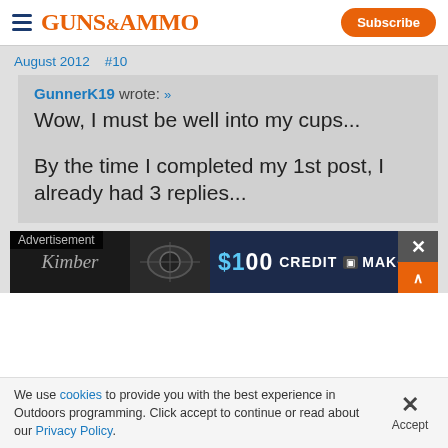GUNS&AMMO | Subscribe
August 2012    #10
GunnerK19 wrote: »
Wow, I must be well into my cups...

By the time I completed my 1st post, I already had 3 replies...
[Figure (other): Advertisement banner: '$100 CREDIT MAKO' with dark background and a weapon/scope image]
We use cookies to provide you with the best experience in Outdoors programming. Click accept to continue or read about our Privacy Policy.